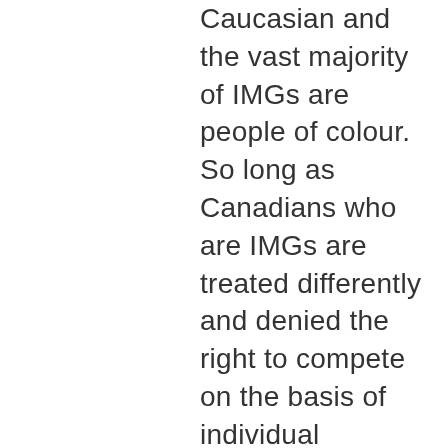Caucasian and the vast majority of IMGs are people of colour. So long as Canadians who are IMGs are treated differently and denied the right to compete on the basis of individual knowledge and skills, this neural brain connection of IMG/race inferiority will continue. The CMA's Equity and Diversity Policy in Medicine says all the right things, but when we pointed out that the policy was contravened by the first step of access to medicine